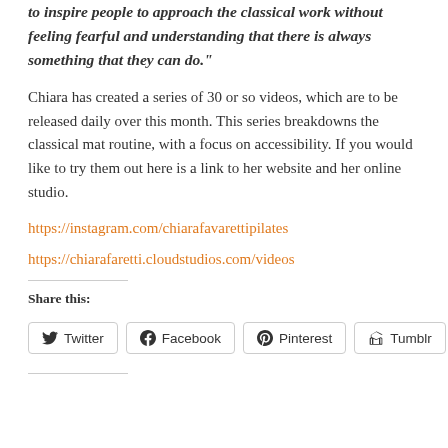to inspire people to approach the classical work without feeling fearful and understanding that there is always something that they can do."
Chiara has created a series of 30 or so videos, which are to be released daily over this month. This series breakdowns the classical mat routine, with a focus on accessibility. If you would like to try them out here is a link to her website and her online studio.
https://instagram.com/chiarafavarettipilates
https://chiarafaretti.cloudstudios.com/videos
Share this:
Twitter | Facebook | Pinterest | Tumblr